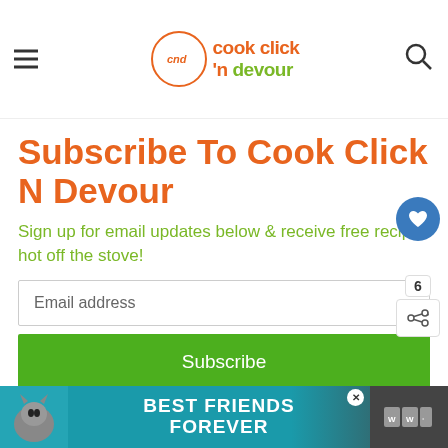cook click 'n devour
Subscribe To Cook Click N Devour
Sign up for email updates below & receive free recipes hot off the stove!
Email address
Subscribe
[Figure (infographic): Best Friends Forever advertisement banner with cat image at bottom of page]